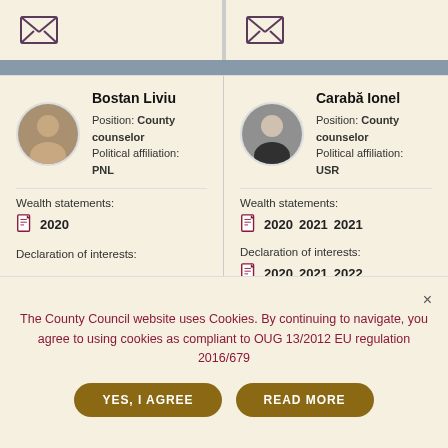[Figure (screenshot): Top section showing envelope/email icons for two columns (Bostan Liviu and Carabă Ionel)]
Bostan Liviu
Position: County counselor
Political affiliation: PNL
Carabă Ionel
Position: County counselor
Political affiliation: USR
Wealth statements:
2020
Declaration of interests:
Wealth statements:
2020  2021  2021
Declaration of interests:
2020  2021  2022
The County Council website uses Cookies. By continuing to navigate, you agree to using cookies as compliant to OUG 13/2012 EU regulation 2016/679